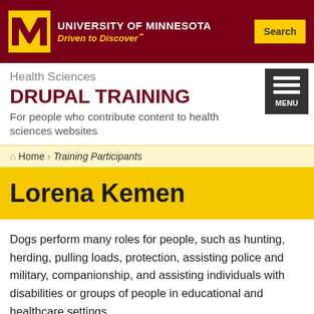University of Minnesota Driven to Discover℠
Health Sciences
DRUPAL TRAINING
For people who contribute content to health sciences websites
Home › Training Participants
Lorena Kemen
Dogs perform many roles for people, such as hunting, herding, pulling loads, protection, assisting police and military, companionship, and assisting individuals with disabilities or groups of people in educational and healthcare settings.